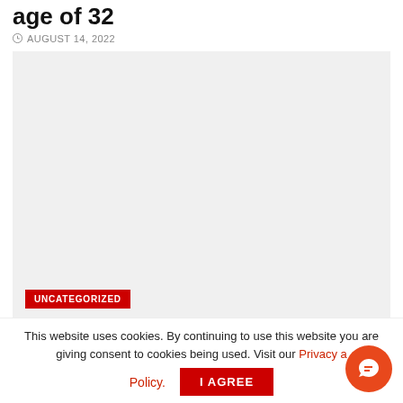age of 32
AUGUST 14, 2022
[Figure (photo): Large light gray placeholder image box with 'UNCATEGORIZED' red badge label in bottom left corner]
This website uses cookies. By continuing to use this website you are giving consent to cookies being used. Visit our Privacy and Cookie Policy.
I Agree